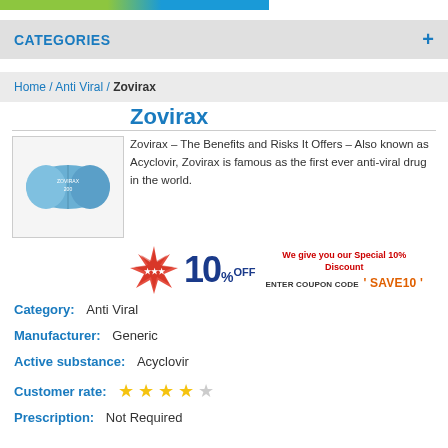CATEGORIES +
Home / Anti Viral / Zovirax
Zovirax
[Figure (photo): Blue capsule pill labeled ZOVIRAX 200]
Zovirax – The Benefits and Risks It Offers – Also known as Acyclovir, Zovirax is famous as the first ever anti-viral drug in the world.
[Figure (infographic): 10% OFF discount banner with coupon code SAVE10. Text: We give you our Special 10% Discount. ENTER COUPON CODE 'SAVE10']
Category: Anti Viral
Manufacturer: Generic
Active substance: Acyclovir
Customer rate: 4 out of 5 stars
Prescription: Not Required